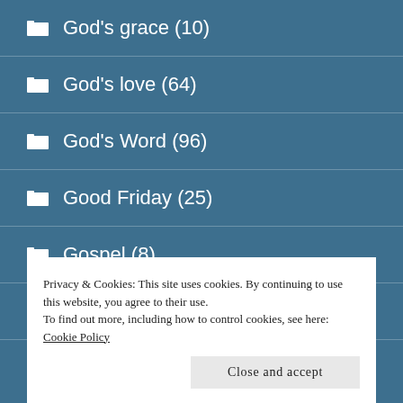God's grace (10)
God's love (64)
God's Word (96)
Good Friday (25)
Gospel (8)
Grounded in the Word of God (77)
Privacy & Cookies: This site uses cookies. By continuing to use this website, you agree to their use.
To find out more, including how to control cookies, see here: Cookie Policy